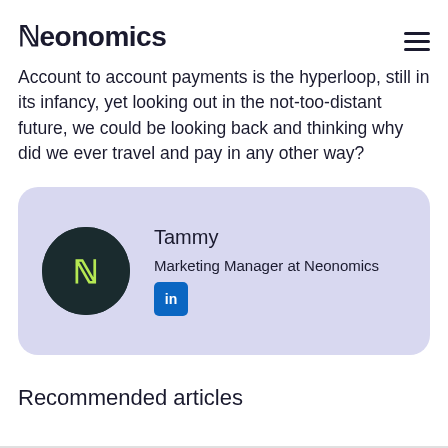Neonomics
Account to account payments is the hyperloop, still in its infancy, yet looking out in the not-too-distant future, we could be looking back and thinking why did we ever travel and pay in any other way?
[Figure (infographic): Author card with Neonomics logo avatar, name Tammy, title Marketing Manager at Neonomics, and LinkedIn icon button]
Recommended articles